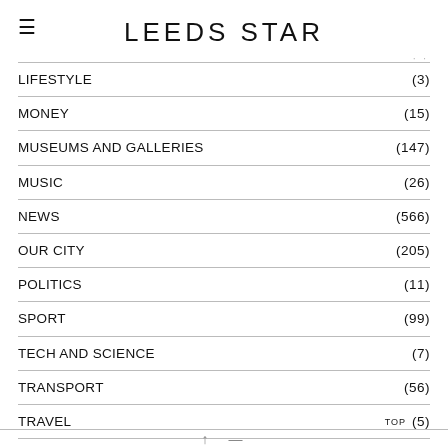LEEDS STAR
LIFESTYLE (3)
MONEY (15)
MUSEUMS AND GALLERIES (147)
MUSIC (26)
NEWS (566)
OUR CITY (205)
POLITICS (11)
SPORT (99)
TECH AND SCIENCE (7)
TRANSPORT (56)
TRAVEL (5)